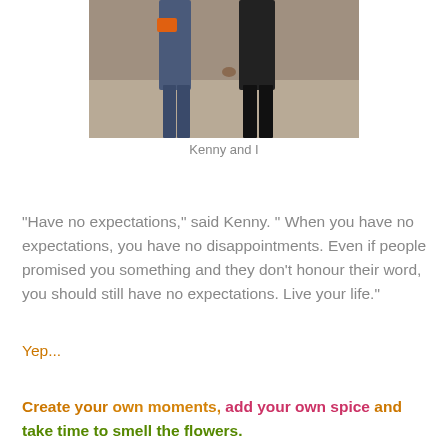[Figure (photo): Two people standing outdoors, one wearing orange, on a dirt/gravel background. Cropped to show lower torsos and legs.]
Kenny and I
"Have no expectations," said Kenny. " When you have no expectations, you have no disappointments.  Even if people promised you something and they don't honour their word, you should still have no expectations. Live your life."
Yep...
Create your own moments, add your own spice and take time to smell the flowers.